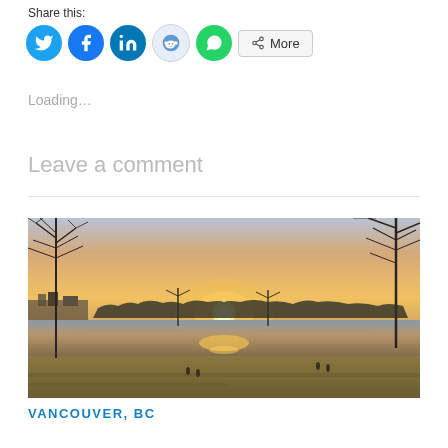Share this:
[Figure (infographic): Social media share buttons: Twitter (blue circle), Facebook (blue circle), LinkedIn (dark blue circle), Reddit (light blue circle), WhatsApp (green circle), and a 'More' button with share icon]
Loading...
Leave a comment
[Figure (photo): Panoramic sunset photograph over a lake or river in Vancouver, BC. Bare winter trees in foreground and background, sun setting on horizon reflected in water, green grass in foreground, city skyline faintly visible on left.]
VANCOUVER, BC